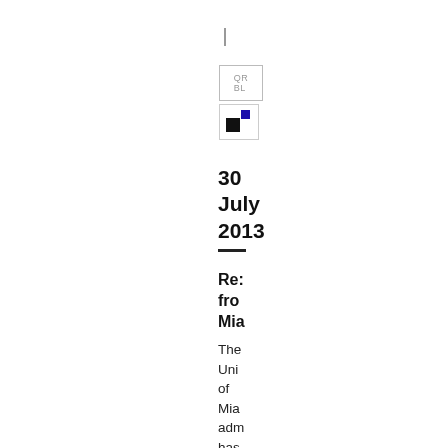|
[Figure (logo): QR code placeholder box with letters 'QR BL' and a small icon box with black and blue squares]
30 July 2013
Re: fro Mia
The Uni of Mia adm has resp (here to the